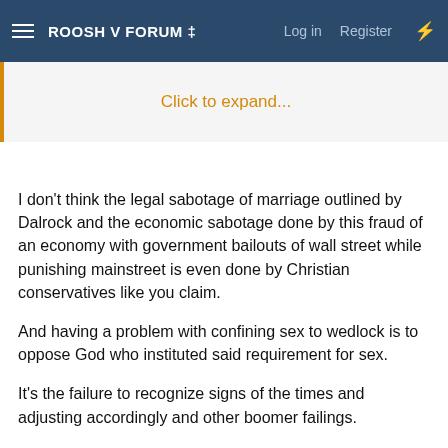ROOSH V FORUM ‡   Log in   Register
Click to expand...
I don't think the legal sabotage of marriage outlined by Dalrock and the economic sabotage done by this fraud of an economy with government bailouts of wall street while punishing mainstreet is even done by Christian conservatives like you claim.
And having a problem with confining sex to wedlock is to oppose God who instituted said requirement for sex.
It's the failure to recognize signs of the times and adjusting accordingly and other boomer failings.
RINOs are only voted in because they are less bad than the alternatives but ultimately they are the same Uniparty. That's why they conveniently snatch defeat out of jaws of victory